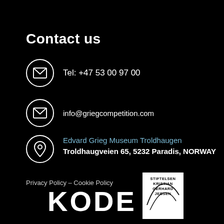Contact us
Tel: +47 53 00 97 00
info@griegcompetition.com
Edvard Grieg Museum Troldhaugen
Troldhaugveien 65, 5232 Paradis, NORWAY
Privacy Policy – Cookie Policy
[Figure (logo): KODE museum white text logo on black background]
[Figure (logo): Stiftelsen Kristian Gerhard Jebsen logo in white box with arc graphic]